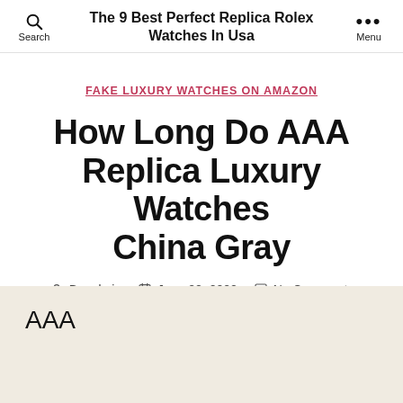The 9 Best Perfect Replica Rolex Watches In Usa
FAKE LUXURY WATCHES ON AMAZON
How Long Do AAA Replica Luxury Watches China Gray
By admin  June 22, 2022  No Comments
AAA